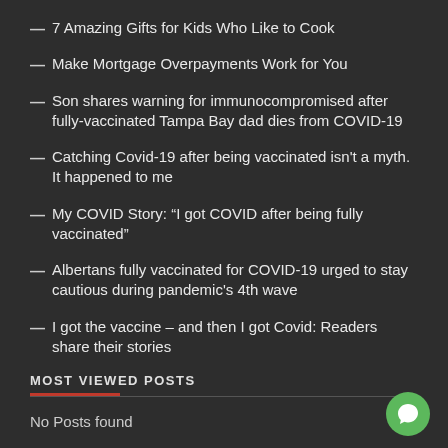7 Amazing Gifts for Kids Who Like to Cook
Make Mortgage Overpayments Work for You
Son shares warning for immunocompromised after fully-vaccinated Tampa Bay dad dies from COVID-19
Catching Covid-19 after being vaccinated isn't a myth. It happened to me
My COVID Story: “I got COVID after being fully vaccinated”
Albertans fully vaccinated for COVID-19 urged to stay cautious during pandemic's 4th wave
I got the vaccine – and then I got Covid: Readers share their stories
MOST VIEWED POSTS
No Posts found